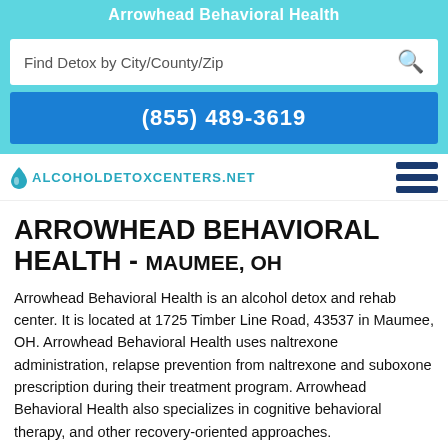Arrowhead Behavioral Health
Find Detox by City/County/Zip
(855) 489-3619
[Figure (logo): AlcoholDetoxCenters.net logo with water drop icon and hamburger menu icon]
ARROWHEAD BEHAVIORAL HEALTH - MAUMEE, OH
Arrowhead Behavioral Health is an alcohol detox and rehab center. It is located at 1725 Timber Line Road, 43537 in Maumee, OH. Arrowhead Behavioral Health uses naltrexone administration, relapse prevention from naltrexone and suboxone prescription during their treatment program. Arrowhead Behavioral Health also specializes in cognitive behavioral therapy, and other recovery-oriented approaches.